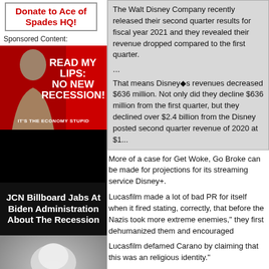[Figure (other): Donate to Ace of Spades HQ button/box]
Donate to Ace of Spades HQ!
Sponsored Content:
[Figure (photo): Political ad image with Biden silhouette on red background with text READ MY LIPS: NO NEW RECESSION! IT'S THE ECONOMY STUPID]
JCN Billboard Jabs At Biden Administration About The Recession
[Figure (photo): Nuclear explosion mushroom cloud black and white photo]
Why An EMP Attack May Be The Greatest Threat...
The Walt Disney Company recently released their second quarter results for fiscal year 2021 and they revealed their revenue dropped compared to the first quarter.
...
That means Disney�s revenues decreased $636 million. Not only did they decline $636 million from the first quarter, but they declined over $2.4 billion from the Disney posted second quarter revenue of 2020 at $1...
More of a case for Get Woke, Go Broke can be made for projections for its streaming service Disney+.
Lucasfilm made a lot of bad PR for itself when it fired stating, correctly, that before the Nazis took more extreme enemies," they first dehumanized them and encouraged
Lucasfilm defamed Carano by claiming that this was an religious identity."
Seriously, this is defamation, and if there is no lawsuit entitled to fire someone for petty political reasons -- but them.
Firing Gina Carano touched off a #CancelDisney+ hash
Rumor has it that the sudden loss of sign-ups sent waves...